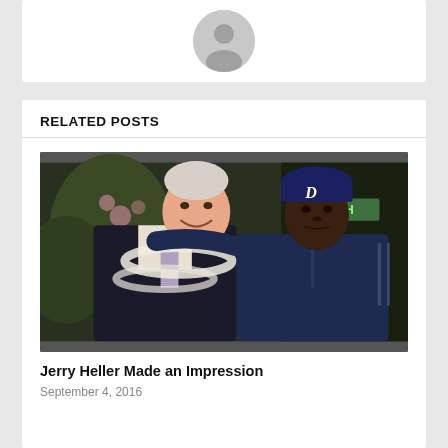[Figure (photo): Placeholder avatar / profile silhouette icon in grey circle on white card background]
RELATED POSTS
[Figure (photo): Photo of two men posing together. The man on the left is an older white man wearing a black jacket with a floral lei and a patterned tie. The man on the right is a younger Black man wearing a dark blue zip-up jacket and a Detroit Tigers baseball cap. They are standing in front of a floral/tropical background.]
Jerry Heller Made an Impression
September 4, 2016